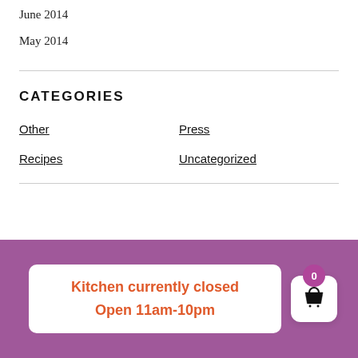June 2014
May 2014
CATEGORIES
Other
Press
Recipes
Uncategorized
Kitchen currently closed
Open 11am-10pm